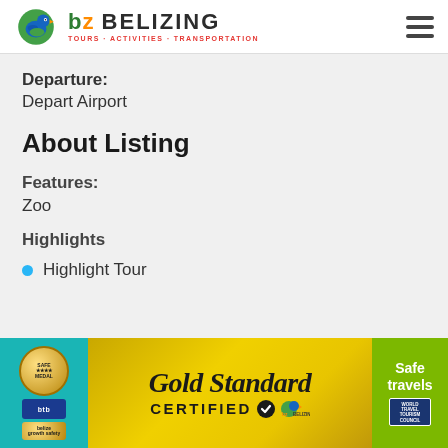Belizing – Tours · Activities · Transportation (navigation header with hamburger menu)
Departure:
Depart Airport
About Listing
Features:
Zoo
Highlights
Highlight Tour
[Figure (illustration): Gold Standard Certified banner with teal left panel showing SAFE MEDAL BTB logos, gold center with 'Gold Standard CERTIFIED' text and Belizing logo, and green right panel with 'Safe travels' WTTC badge.]